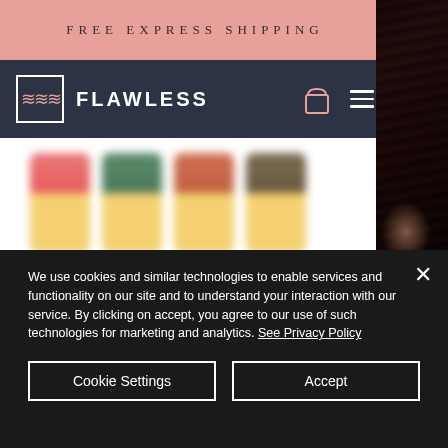[Figure (screenshot): Website screenshot showing a beauty/hair products e-commerce site called FLAWLESS with a pink 'FREE EXPRESS SHIPPING' banner, dark navy navigation bar with logo, cart icon and hamburger menu, and blurred product bottles below]
[Figure (photo): Partial photo of a woman with long, voluminous black wavy hair on the right side of the page]
We use cookies and similar technologies to enable services and functionality on our site and to understand your interaction with our service. By clicking on accept, you agree to our use of such technologies for marketing and analytics. See Privacy Policy
Cookie Settings
Accept